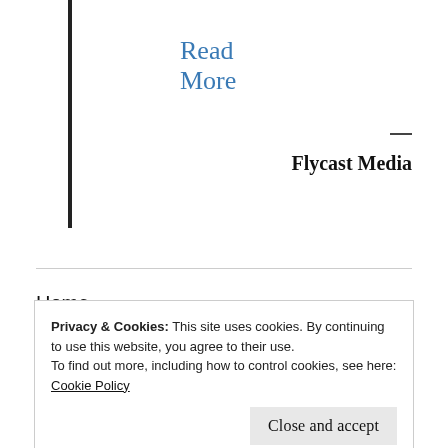Read More
Flycast Media
Home
About
Privacy & Cookies: This site uses cookies. By continuing to use this website, you agree to their use.
To find out more, including how to control cookies, see here:
Cookie Policy
Close and accept